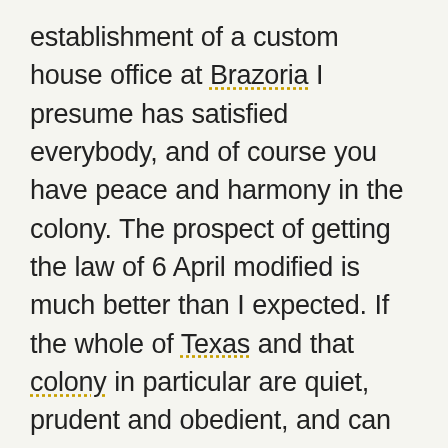establishment of a custom house office at Brazoria I presume has satisfied everybody, and of course you have peace and harmony in the colony. The prospect of getting the law of 6 April modified is much better than I expected. If the whole of Texas and that colony in particular are quiet, prudent and obedient, and can keep all the local officers and especially the Military in a good humor, and well satisfied, I will almost insure a repeal of the 11 article of the law of 6 April, but there must be no more such violent excitements as that at Brazoria in December —no more such illegal and even piratical